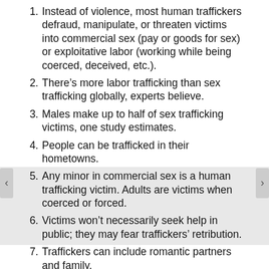1. Instead of violence, most human traffickers defraud, manipulate, or threaten victims into commercial sex (pay or goods for sex) or exploitative labor (working while being coerced, deceived, etc.).
2. There’s more labor trafficking than sex trafficking globally, experts believe.
3. Males make up to half of sex trafficking victims, one study estimates.
4. People can be trafficked in their hometowns.
5. Any minor in commercial sex is a human trafficking victim. Adults are victims when coerced or forced.
6. Victims won’t necessarily seek help in public; they may fear traffickers’ retribution.
7. Traffickers can include romantic partners and family.
From National Human Trafficking Hotline, Department